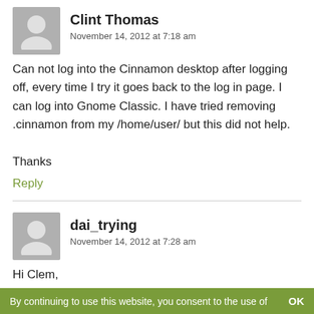Clint Thomas
November 14, 2012 at 7:18 am
Can not log into the Cinnamon desktop after logging off, every time I try it goes back to the log in page. I can log into Gnome Classic. I have tried removing .cinnamon from my /home/user/ but this did not help.

Thanks
Reply
dai_trying
November 14, 2012 at 7:28 am
Hi Clem,
First I would like to say thank you for this latest RC, I
By continuing to use this website, you consent to the use of    OK